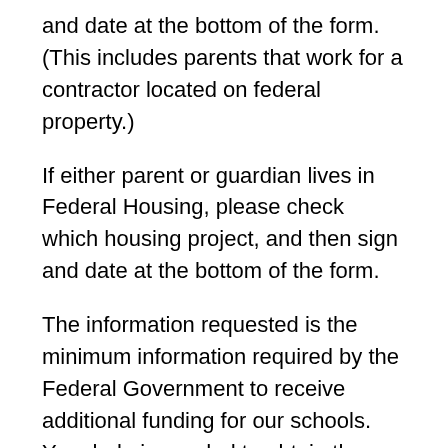and date at the bottom of the form. (This includes parents that work for a contractor located on federal property.)
If either parent or guardian lives in Federal Housing, please check which housing project, and then sign and date at the bottom of the form.
The information requested is the minimum information required by the Federal Government to receive additional funding for our schools. Your help is needed to obtain these necessary funds, that will provide additional resources for your children.
Please fill out this form and return it in one of the following ways: Return it in your child's backpack, drop it off at the school office, or